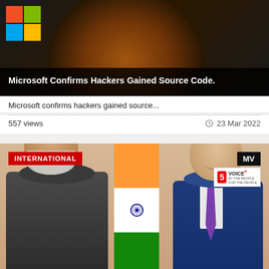[Figure (photo): Microsoft logo on dark background with circular shadow]
Microsoft Confirms Hackers Gained Source Code.
Microsoft confirms hackers gained source...
557 views
23 Mar 2022
[Figure (photo): Two political leaders (Narendra Modi and Vladimir Putin) shaking hands in front of Indian flag, with INTERNATIONAL badge and MV/Voice logo overlay]